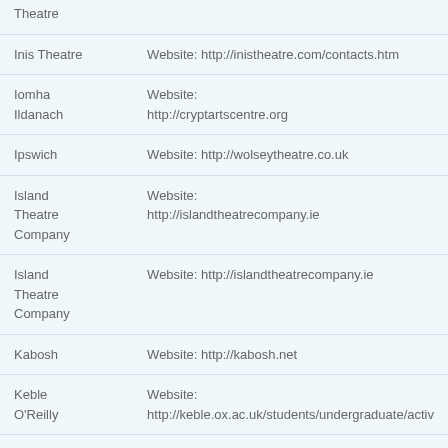| Name | Contact |
| --- | --- |
| Theatre |  |
| Inis Theatre | Website: http://inistheatre.com/contacts.htm |
| Iomha
Ildanach | Website:
http://cryptartscentre.org |
| Ipswich | Website: http://wolseytheatre.co.uk |
| Island
Theatre
Company | Website:
http://islandtheatrecompany.ie |
| Island
Theatre
Company | Website: http://islandtheatrecompany.ie |
| Kabosh | Website: http://kabosh.net |
| Keble
O'Reilly | Website:
http://keble.ox.ac.uk/students/undergraduate/activ |